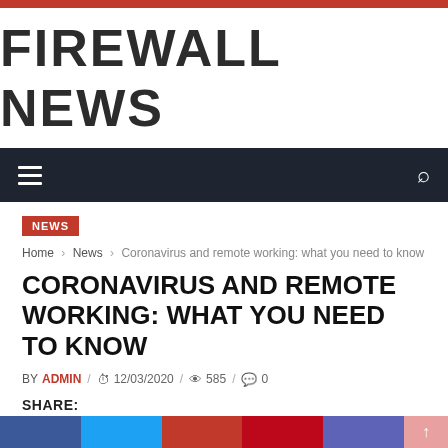FIREWALL NEWS
NEWS
Home › News › Coronavirus and remote working: what you need to know
CORONAVIRUS AND REMOTE WORKING: WHAT YOU NEED TO KNOW
BY ADMIN / 12/03/2020 / 585 / 0
SHARE: